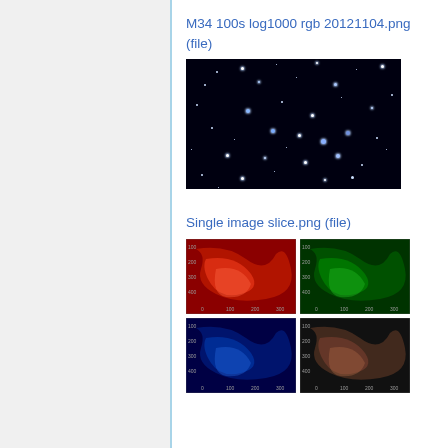M34 100s log1000 rgb 20121104.png (file)
[Figure (photo): Astronomical image of star cluster M34, dark/black background with scattered small white/blue star points]
Single image slice.png (file)
[Figure (photo): Grid of four color-channel image slices: red channel (top-left), green channel (top-right), blue channel (bottom-left), and composite/other channel (bottom-right)]